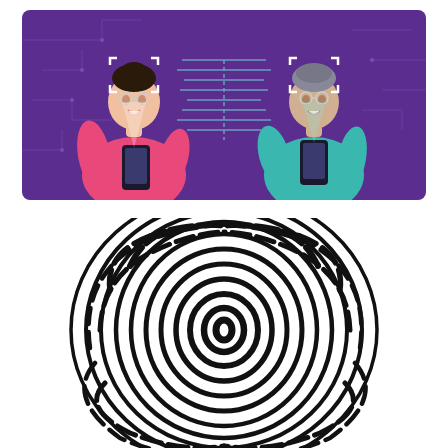[Figure (illustration): Illustration of two people holding smartphones with facial recognition scanning brackets over their faces, set against a purple background with circuit board patterns. Left person wears pink/red cardigan, right person wears teal top.]
[Figure (illustration): Black and white fingerprint icon on white background, showing detailed swirling ridge patterns of a fingerprint.]